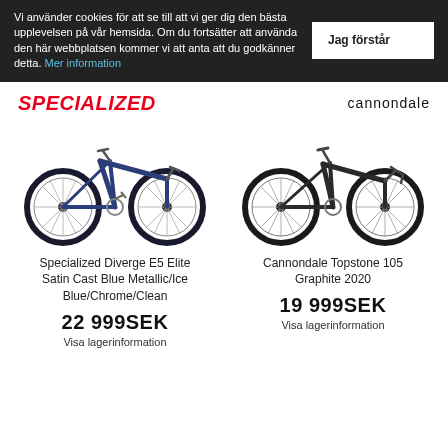Vi använder cookies för att se till att vi ger dig den bästa upplevelsen på vår hemsida. Om du fortsätter att använda den här webbplatsen kommer vi att anta att du godkänner detta. Mer information
[Figure (logo): SPECIALIZED logo in red italic]
[Figure (logo): cannondale logo in black]
[Figure (photo): Specialized Diverge E5 Elite road/gravel bike in dark blue metallic color]
[Figure (photo): Cannondale Topstone 105 gravel bike in graphite/dark color]
Specialized Diverge E5 Elite Satin Cast Blue Metallic/Ice Blue/Chrome/Clean
22 999SEK
Visa lagerinformation
Cannondale Topstone 105 Graphite 2020
19 999SEK
Visa lagerinformation